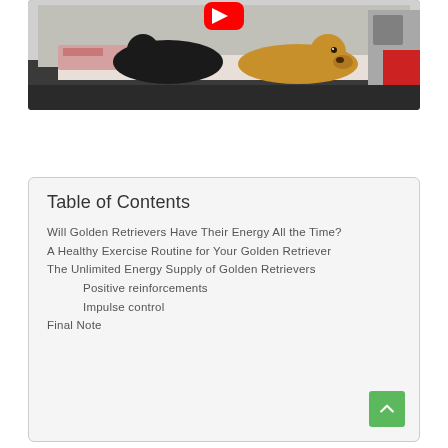[Figure (photo): Photo of two dogs (a black dog and a golden retriever) lying in the trunk/boot of a car, with a YouTube play button overlay visible at the top center of the image.]
Table of Contents
Will Golden Retrievers Have Their Energy All the Time?
A Healthy Exercise Routine for Your Golden Retriever
The Unlimited Energy Supply of Golden Retrievers
Positive reinforcements
Impulse control
Final Note